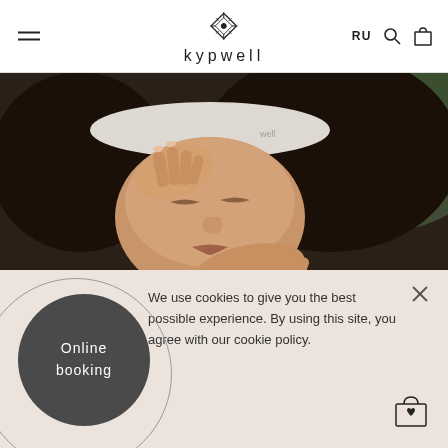kypwell — navigation header with hamburger menu, logo, RU language toggle, search and cart icons
[Figure (photo): Close-up photo of a woman receiving a facial massage, wearing a white headband with eyes closed, hands gently touching her face]
We use cookies to give you the best possible experience. By using this site, you agree with our cookie policy.
Online booking